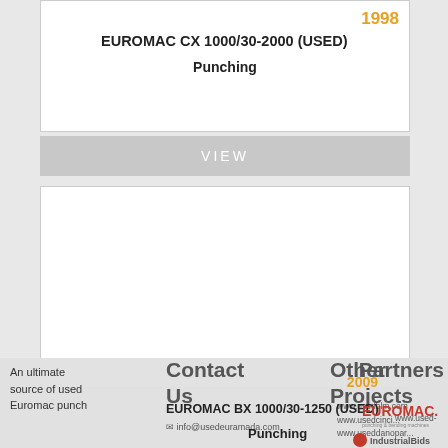1998
EUROMAC CX 1000/30-2000 (USED)
Punching
VIEW
[Figure (photo): Empty white image placeholder area for machine photo]
An ultimate source of used Euromac punch
Contact Us
Other Projects
Partners
2009
EUROMAC BX 1000/30-1250 (USED)
Punching
[Figure (logo): EUROMAC logo - red text with tagline]
info@usedeuramada.com
www.usedblm.com
www.usedcinci...
www.useddanopar.com
[Figure (logo): IndustrialBids logo]